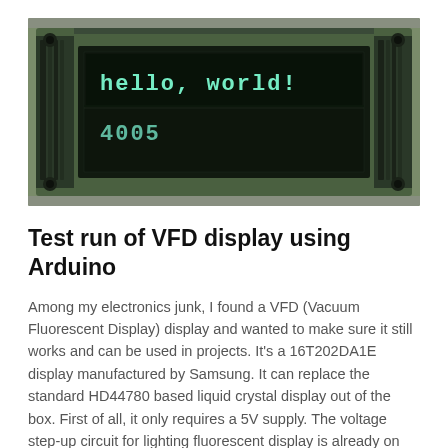[Figure (photo): Photo of a VFD (Vacuum Fluorescent Display) module displaying 'hello, world!' on the first line and '4005' on the second line. The display is green-colored with bright cyan-white characters. The module has a circuit board visible with connectors.]
Test run of VFD display using Arduino
Among my electronics junk, I found a VFD (Vacuum Fluorescent Display) display and wanted to make sure it still works and can be used in projects. It's a 16T202DA1E display manufactured by Samsung. It can replace the standard HD44780 based liquid crystal display out of the box. First of all, it only requires a 5V supply. The voltage step-up circuit for lighting fluorescent display is already on board. The controller